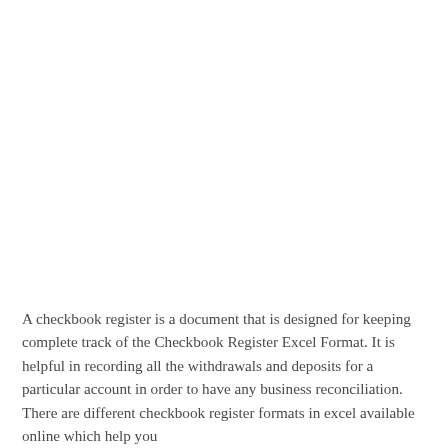A checkbook register is a document that is designed for keeping complete track of the Checkbook Register Excel Format. It is helpful in recording all the withdrawals and deposits for a particular account in order to have any business reconciliation. There are different checkbook register formats in excel available online which help you